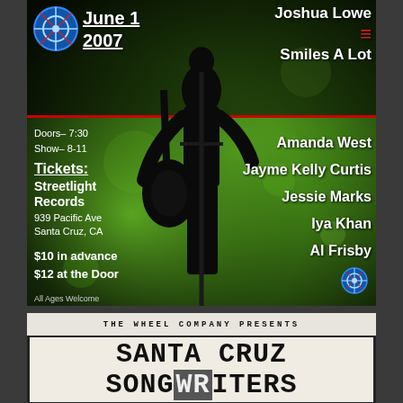[Figure (illustration): Event concert poster with dark green background and silhouette of a guitarist. Features logo, date, venue info, ticket prices, and artist names on green bokeh background.]
June 1
2007
Joshua Lowe
Smiles A Lot
Doors– 7:30
Show– 8-11
Tickets:
Streetlight Records
939 Pacific Ave
Santa Cruz, CA
$10 in advance
$12 at the Door
All Ages Welcome
www.thewheelcompany.com
Amanda West
Jayme Kelly Curtis
Jessie Marks
Iya Khan
Al Frisby
THE WHEEL COMPANY PRESENTS
SANTA CRUZ SONGWRITERS